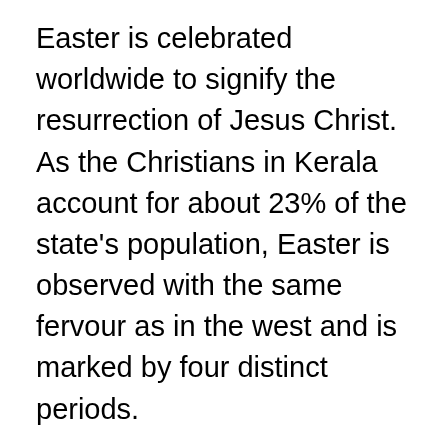Easter is celebrated worldwide to signify the resurrection of Jesus Christ. As the Christians in Kerala account for about 23% of the state's population, Easter is observed with the same fervour as in the west and is marked by four distinct periods.
The first is Lent where one undergoes a 40 day fast, giving up something they value for the entire period. Then comes the Holy Week consisting of the 4 days leading up to the Easter Sunday. Next is the Octave of Easter (the period of traditional Baptism) and it finally ends with the paschal season that extends for